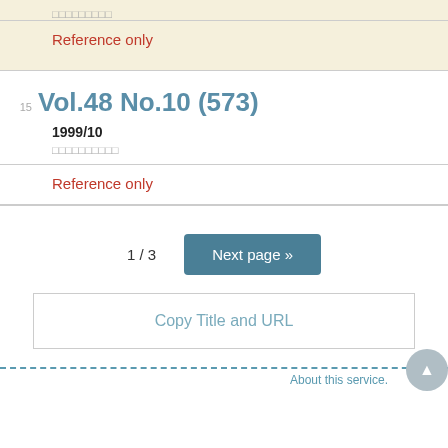□□□□□□□□□
Reference only
15  Vol.48 No.10 (573)
1999/10
□□□□□□□□□□
Reference only
1 / 3
Next page »
Copy Title and URL
About this service.